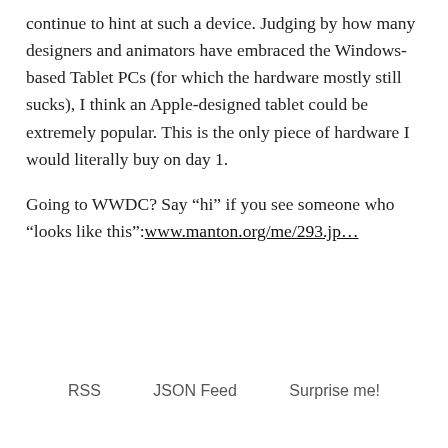continue to hint at such a device. Judging by how many designers and animators have embraced the Windows-based Tablet PCs (for which the hardware mostly still sucks), I think an Apple-designed tablet could be extremely popular. This is the only piece of hardware I would literally buy on day 1.

Going to WWDC? Say “hi” if you see someone who “looks like this”: www.manton.org/me/293.jp…
RSS   JSON Feed   Surprise me!